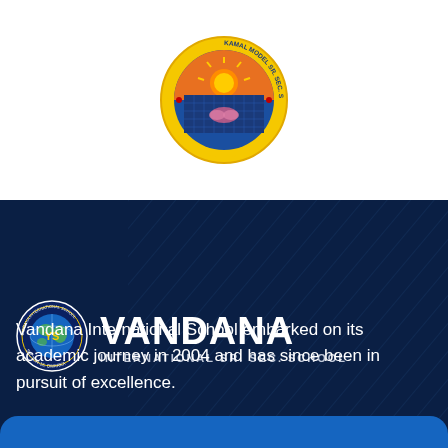[Figure (logo): Kamal Model Sr. Sec. School circular emblem with sun and lotus motif, yellow border with school name text]
[Figure (logo): Vandana International School circular logo with globe and YS emblem, navy blue background]
VANDANA INTERNATIONAL SR. SEC. SCHOOL
Vandana International School embarked on its academic journey in 2004 and has since been in pursuit of excellence.